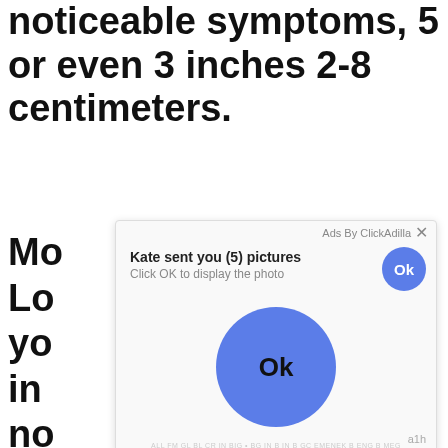noticeable symptoms, 5 or even 3 inches 2-8 centimeters.
Mo...o Lo...te yo...s in...s no... di...
[Figure (screenshot): Ad overlay popup from ClickAdilla showing 'Kate sent you (5) pictures' with 'Click OK to display the photo' text, a small blue Ok button in top right, and a large blue circle Ok button in the center. Timestamp shows 'a1h' in bottom right corner.]